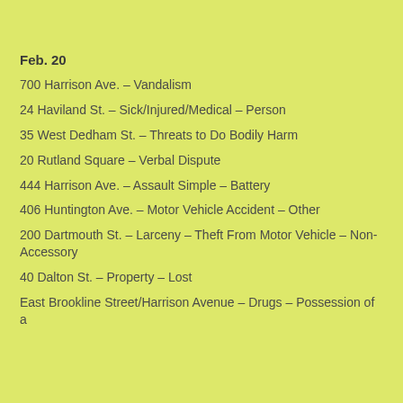Feb. 20
700 Harrison Ave. – Vandalism
24 Haviland St. – Sick/Injured/Medical – Person
35 West Dedham St. – Threats to Do Bodily Harm
20 Rutland Square – Verbal Dispute
444 Harrison Ave. – Assault Simple – Battery
406 Huntington Ave. – Motor Vehicle Accident – Other
200 Dartmouth St. – Larceny – Theft From Motor Vehicle – Non-Accessory
40 Dalton St. – Property – Lost
East Brookline Street/Harrison Avenue – Drugs – Possession of a